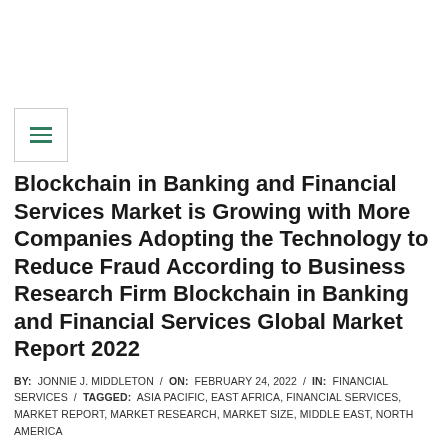Blockchain in Banking and Financial Services Market is Growing with More Companies Adopting the Technology to Reduce Fraud According to Business Research Firm Blockchain in Banking and Financial Services Global Market Report 2022
BY: JONNIE J. MIDDLETON / ON: FEBRUARY 24, 2022 / IN: FINANCIAL SERVICES / TAGGED: ASIA PACIFIC, EAST AFRICA, FINANCIAL SERVICES, MARKET REPORT, MARKET RESEARCH, MARKET SIZE, MIDDLE EAST, NORTH AMERICA
TBRC's market research report covers blockchain in banking and financial services market size, blockchain in banking and financial services market forecast, blockchain in banking and financial